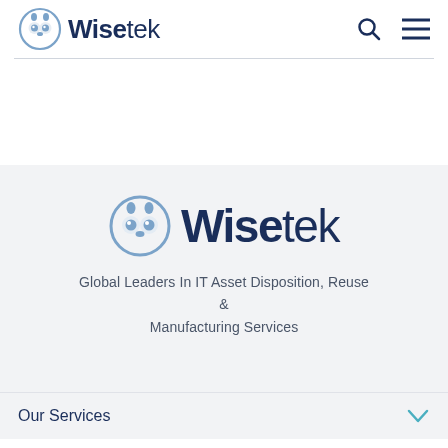Wisetek
[Figure (logo): Wisetek owl logo with company name - large centered version on gray background]
Global Leaders In IT Asset Disposition, Reuse & Manufacturing Services
Our Services